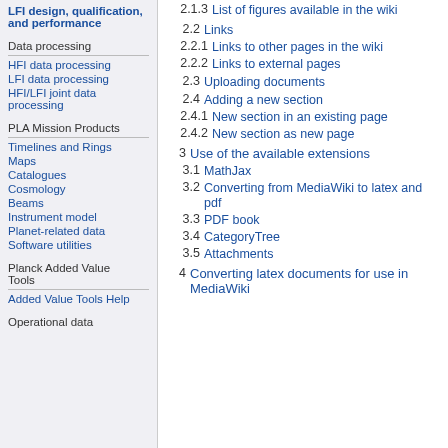LFI design, qualification, and performance
Data processing
HFI data processing
LFI data processing
HFI/LFI joint data processing
PLA Mission Products
Timelines and Rings
Maps
Catalogues
Cosmology
Beams
Instrument model
Planet-related data
Software utilities
Planck Added Value Tools
Added Value Tools Help
Operational data
2.1.3  List of figures available in the wiki
2.2  Links
2.2.1  Links to other pages in the wiki
2.2.2  Links to external pages
2.3  Uploading documents
2.4  Adding a new section
2.4.1  New section in an existing page
2.4.2  New section as new page
3  Use of the available extensions
3.1  MathJax
3.2  Converting from MediaWiki to latex and pdf
3.3  PDF book
3.4  CategoryTree
3.5  Attachments
4  Converting latex documents for use in MediaWiki